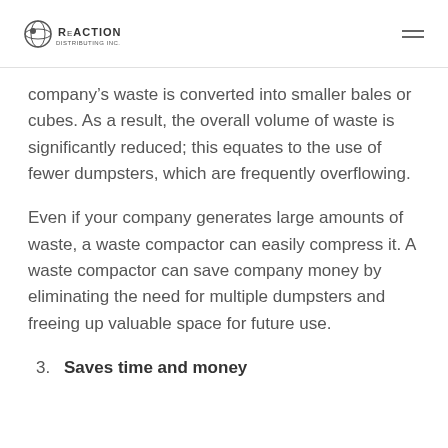Reaction Distributing Inc. [logo] [hamburger menu]
company’s waste is converted into smaller bales or cubes. As a result, the overall volume of waste is significantly reduced; this equates to the use of fewer dumpsters, which are frequently overflowing.
Even if your company generates large amounts of waste, a waste compactor can easily compress it. A waste compactor can save company money by eliminating the need for multiple dumpsters and freeing up valuable space for future use.
3. Saves time and money